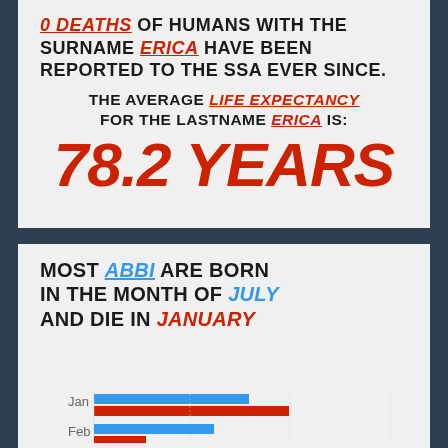0 DEATHS OF HUMANS WITH THE SURNAME ERICA HAVE BEEN REPORTED TO THE SSA EVER SINCE.
THE AVERAGE LIFE EXPECTANCY FOR THE LASTNAME ERICA IS:
78.2 YEARS
MOST ABBI ARE BORN IN THE MONTH OF JULY AND DIE IN JANUARY
[Figure (bar-chart): Birth and death months for ABBI]